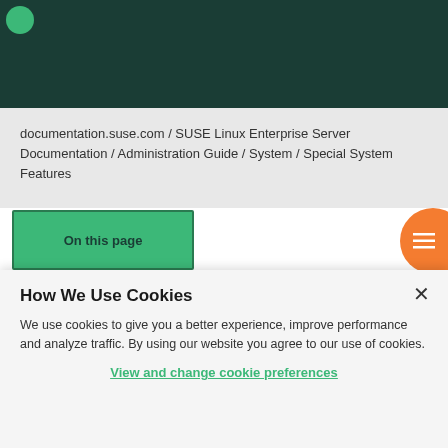[Figure (logo): SUSE green logo mark partially visible top-left on dark green header bar]
documentation.suse.com / SUSE Linux Enterprise Server Documentation / Administration Guide / System / Special System Features
On this page
How We Use Cookies
We use cookies to give you a better experience, improve performance and analyze traffic. By using our website you agree to our use of cookies.
View and change cookie preferences